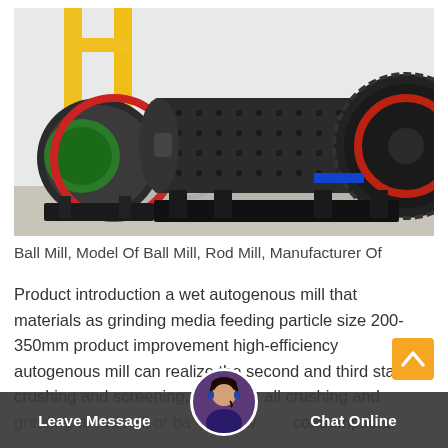[Figure (photo): Industrial ball mills and rod mills in a factory setting, showing large cylindrical grinding machines with gears and wheels on black frames, with yellow crane structure in background]
Ball Mill, Model Of Ball Mill, Rod Mill, Manufacturer Of
Product introduction a wet autogenous mill that materials as grinding media feeding particle size 200-350mm product improvement high-efficiency autogenous mill can realize the second and third sta crushing and screening, or all crushing and grinding of rod mill or ba w pow consumption, no dust pollution, less auxiliry equipment, easy
Leave Message   Chat Online